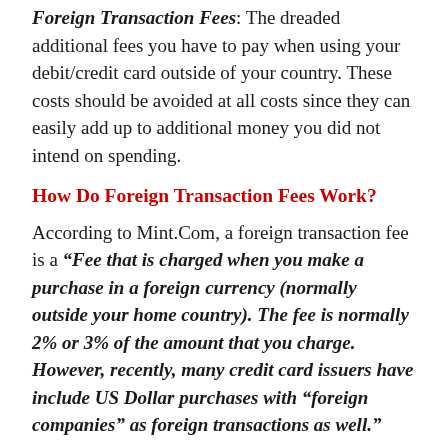Foreign Transaction Fees: The dreaded additional fees you have to pay when using your debit/credit card outside of your country. These costs should be avoided at all costs since they can easily add up to additional money you did not intend on spending.
How Do Foreign Transaction Fees Work?
According to Mint.Com, a foreign transaction fee is a "Fee that is charged when you make a purchase in a foreign currency (normally outside your home country). The fee is normally 2% or 3% of the amount that you charge. However, recently, many credit card issuers have include US Dollar purchases with "foreign companies" as foreign transactions as well."
2% – 3% may not sound like a large amount of money but let's look at that number in dollars.